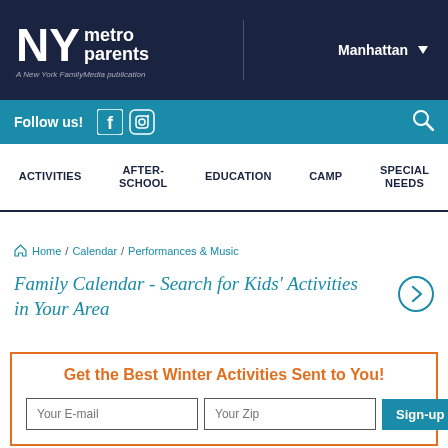NY metro parents - A New York FamilyMedia publication | Manhattan
Follow us!
ACTIVITIES | AFTER-SCHOOL | EDUCATION | CAMP | SPECIAL NEEDS
Home / Calendar / Performances & Music
Family Calendar - Search for Kids' Activities in Your Area
Get the Best Winter Activities Sent to You!
Your E-mail | Your Zip | Sign-up